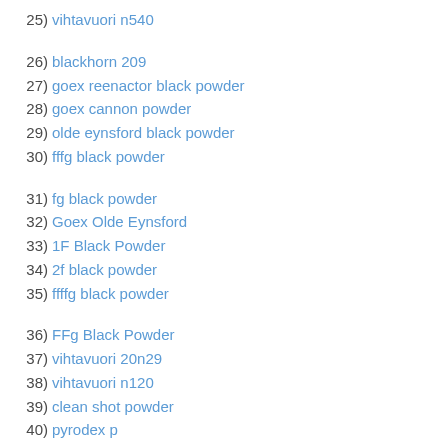25) vihtavuori n540
26) blackhorn 209
27) goex reenactor black powder
28) goex cannon powder
29) olde eynsford black powder
30) fffg black powder
31) fg black powder
32) Goex Olde Eynsford
33) 1F Black Powder
34) 2f black powder
35) ffffg black powder
36) FFg Black Powder
37) vihtavuori 20n29
38) vihtavuori n120
39) clean shot powder
40) pyrodex p
41) hodgdon titegroup
42) winchester wsr primers